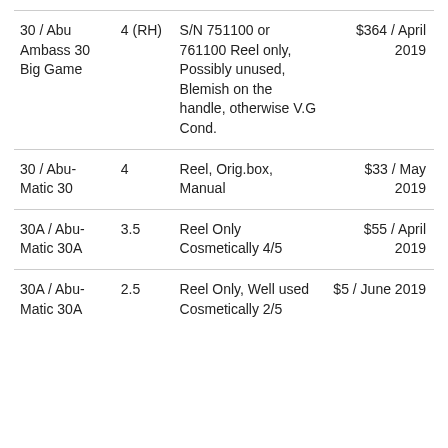| 30 / Abu Ambass 30 Big Game | 4 (RH) | S/N 751100 or 761100 Reel only, Possibly unused, Blemish on the handle, otherwise V.G Cond. | $364 / April 2019 |
| 30 / Abu-Matic 30 | 4 | Reel, Orig.box, Manual | $33 / May 2019 |
| 30A / Abu-Matic 30A | 3.5 | Reel Only Cosmetically 4/5 | $55 / April 2019 |
| 30A / Abu-Matic 30A | 2.5 | Reel Only, Well used Cosmetically 2/5 | $5 / June 2019 |